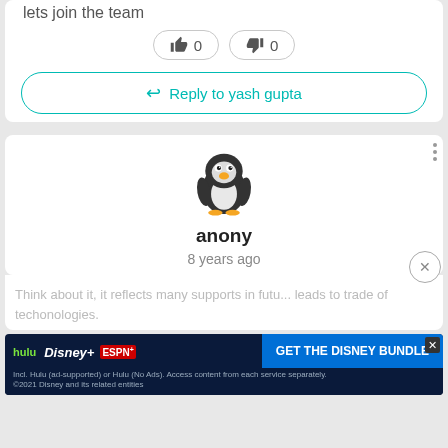lets join the team
[Figure (screenshot): Vote buttons: thumbs up 0, thumbs down 0]
Reply to yash gupta
[Figure (illustration): Penguin avatar for user anony]
anony
8 years ago
Think about it, it reflects many supports in futu... leads to trade of techonologies.
[Figure (screenshot): Disney Bundle ad: hulu Disney+ ESPN+ GET THE DISNEY BUNDLE]